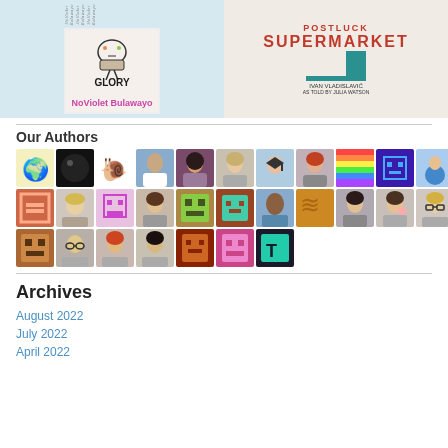[Figure (photo): Book covers photo on left: Multiple spine copies of 'Glory' by NoViolet Bulawayo with illustrated cover showing animal with colorful design]
[Figure (photo): Book cover photo on right: 'Supermarket' by Ivan Vladislavic with teal geometric design on cream background]
Our Authors
[Figure (photo): Grid of author avatar photos and icons, 3 rows of approximately 10 avatars each]
Archives
August 2022
July 2022
April 2022